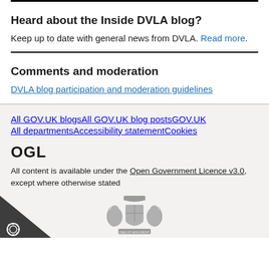Heard about the Inside DVLA blog?
Keep up to date with general news from DVLA. Read more.
Comments and moderation
DVLA blog participation and moderation guidelines
All GOV.UK blogs  All GOV.UK blog posts  GOV.UK  All departments  Accessibility statement  Cookies
OGL
All content is available under the Open Government Licence v3.0, except where otherwise stated